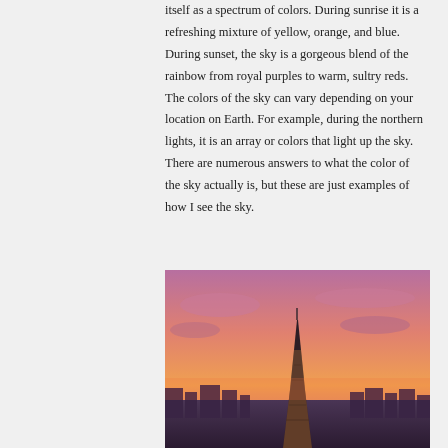itself as a spectrum of colors. During sunrise it is a refreshing mixture of yellow, orange, and blue. During sunset, the sky is a gorgeous blend of the rainbow from royal purples to warm, sultry reds. The colors of the sky can vary depending on your location on Earth. For example, during the northern lights, it is an array or colors that light up the sky. There are numerous answers to what the color of the sky actually is, but these are just examples of how I see the sky.
[Figure (photo): Photograph of the Eiffel Tower at sunset with a pink and purple sky and city skyline in the background.]